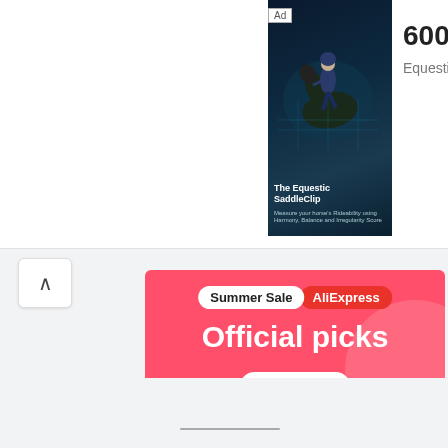[Figure (screenshot): Top section of a web page showing an advertisement for 'The Equestic SaddleClip' with a horse and rider image on dark background. To the right shows '600+ revie' (reviews, truncated) and 'Equestic_noCT' seller name.]
600+ revie
Equestic_noCT
[Figure (screenshot): AliExpress Summer Sale advertisement banner with coral/pink background showing 'Summer Sale AliExpress' pill badge, 'Official picks' heading, 'Shop now' button, and product images including a robot vacuum, gaming console, and Nintendo Switch OLED.]